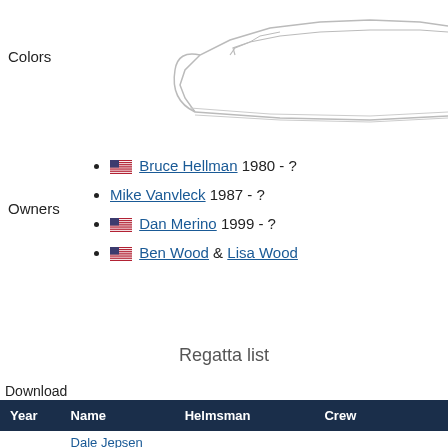[Figure (illustration): Side profile outline/schematic of a motorboat/speedboat, light gray lines on white background, partially cropped on the right]
Colors
Owners
Bruce Hellman 1980 - ?
Mike Vanvleck 1987 - ?
Dan Merino 1999 - ?
Ben Wood & Lisa Wood
Regatta list
Download
| Year | Name | Helmsman | Crew |
| --- | --- | --- | --- |
| 2019 | Dale Jepsen One-Design Regatta | Sugar Flanagan |  |
| 2019 | Kitsilano Invitational Regatta | Sugar Flanagan | Alyce Flanagan |